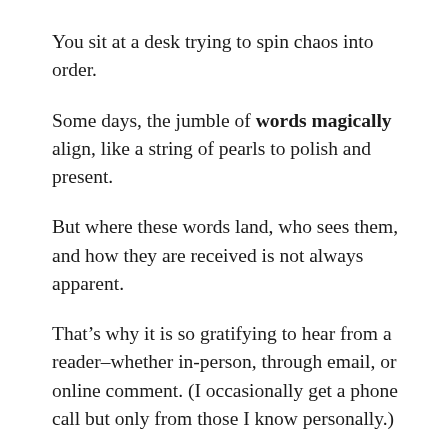You sit at a desk trying to spin chaos into order.
Some days, the jumble of words magically align, like a string of pearls to polish and present.
But where these words land, who sees them, and how they are received is not always apparent.
That’s why it is so gratifying to hear from a reader–whether in-person, through email, or online comment. (I occasionally get a phone call but only from those I know personally.)